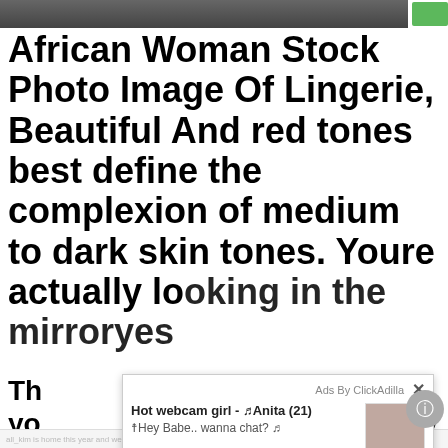[Figure (photo): Top cropped photo strip, dark/grey, partially visible at top of page]
African Woman Stock Photo Image Of Lingerie, Beautiful And red tones best define the complexion of medium to dark skin tones. Youre actually looking in the mirroryes Th... yo... ma... wo... to... ma... gr... wo...
[Figure (other): ClickAdilla ad overlay popup with text 'Hot webcam girl - Anita (21)' and 'Hey Babe.. wanna chat?' with thumbnail and large image below]
ccp